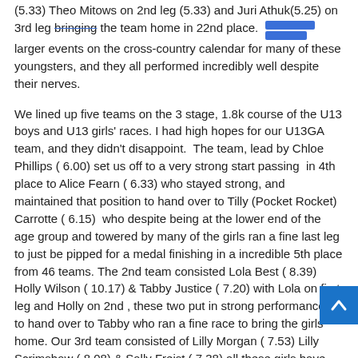(5.33) Theo Mitows on 2nd leg (5.33) and Juri Athuk(5.25) on 3rd leg bringing the team home in 22nd place. This was the first taste of the larger events on the cross-country calendar for many of these youngsters, and they all performed incredibly well despite their nerves.
We lined up five teams on the 3 stage, 1.8k course of the U13 boys and U13 girls' races. I had high hopes for our U13GA team, and they didn't disappoint. The team, lead by Chloe Phillips ( 6.00) set us off to a very strong start passing in 4th place to Alice Fearn ( 6.33) who stayed strong, and maintained that position to hand over to Tilly (Pocket Rocket) Carrotte ( 6.15) who despite being at the lower end of the age group and towered by many of the girls ran a fine last leg to just be pipped for a medal finishing in a incredible 5th place from 46 teams. The 2nd team consisted Lola Best ( 8.39) Holly Wilson ( 10.17) & Tabby Justice ( 7.20) with Lola on first leg and Holly on 2nd , these two put in strong performances to hand over to Tabby who ran a fine race to bring the girls home. Our 3rd team consisted of Lilly Morgan ( 7.53) Lilly Scrimshaw ( 8.08) & Sally Freist ( 7.38) all these girls have never competed at such a event and ran good solid races.
Our two U13 Boys teams were off next. Our A Team set off hard by George Wilson( 5.31), handing over in an incredible 3rd place to